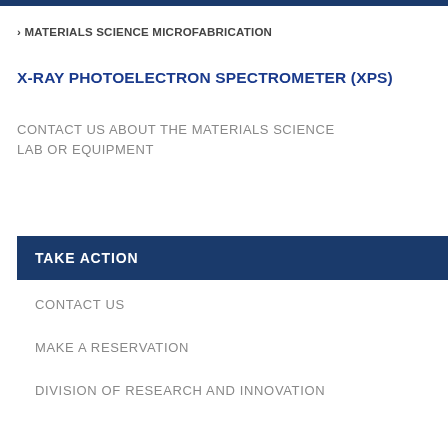› MATERIALS SCIENCE MICROFABRICATION
X-RAY PHOTOELECTRON SPECTROMETER (XPS)
CONTACT US ABOUT THE MATERIALS SCIENCE LAB OR EQUIPMENT
TAKE ACTION
CONTACT US
MAKE A RESERVATION
DIVISION OF RESEARCH AND INNOVATION